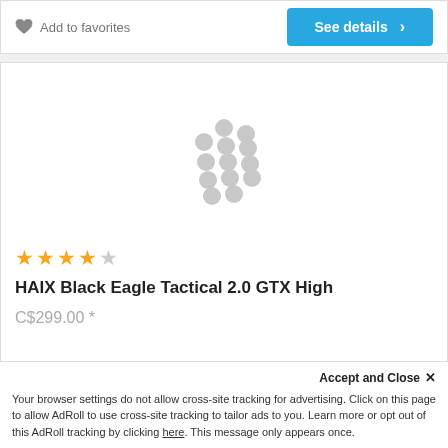Add to favorites
See details
[Figure (other): Loading spinner dots animation placeholder in a product image area]
★★★★☆
HAIX Black Eagle Tactical 2.0 GTX High
C$299.00 *
Accept and Close ✕
Your browser settings do not allow cross-site tracking for advertising. Click on this page to allow AdRoll to use cross-site tracking to tailor ads to you. Learn more or opt out of this AdRoll tracking by clicking here. This message only appears once.